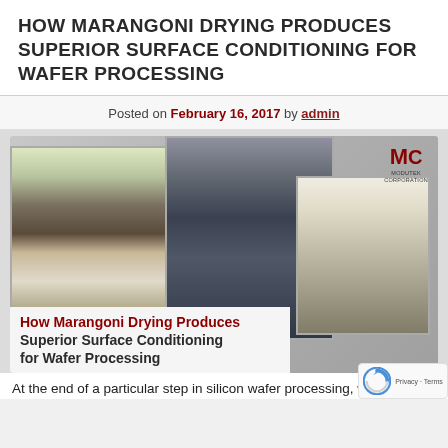HOW MARANGONI DRYING PRODUCES SUPERIOR SURFACE CONDITIONING FOR WAFER PROCESSING
Posted on February 16, 2017 by admin
[Figure (photo): Composite image showing three photos of Modutek Corporation wafer processing equipment (white cabinet-style machines), with Modutek Corporation logo in top right, and overlay text reading 'How Marangoni Drying Produces Superior Surface Conditioning for Wafer Processing']
At the end of a particular step in silicon wafer processing, wafers